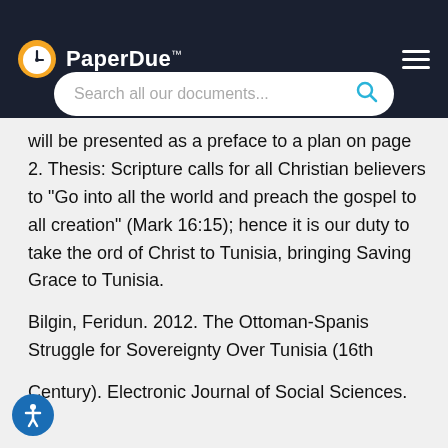PaperDue™
Search all our documents...
will be presented as a preface to a plan on page 2. Thesis: Scripture calls for all Christian believers to "Go into all the world and preach the gospel to all creation" (Mark 16:15); hence it is our duty to take the ord of Christ to Tunisia, bringing Saving Grace to Tunisia.
Bilgin, Feridun. 2012. The Ottoman-Spanis Struggle for Sovereignty Over Tunisia (16th
Century). Electronic Journal of Social Sciences. 12